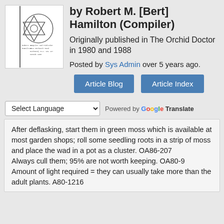[Figure (illustration): Book cover thumbnail showing a triangular logo/emblem and small text reading 'Robert M Hamilton', 'Compiler and Publisher', address details in Richmond, B.C., Canada 1980]
by Robert M. [Bert] Hamilton (Compiler)
Originally published in The Orchid Doctor in 1980 and 1988
Posted by Sys Admin over 5 years ago.
Article Blog
Article Index
Select Language  Powered by Google Translate
After deflasking, start them in green moss which is available at most garden shops; roll some seedling roots in a strip of moss and place the wad in a pot as a cluster. OA86-207
Always cull them; 95% are not worth keeping. OA80-9
Amount of light required = they can usually take more than the adult plants. A80-1216